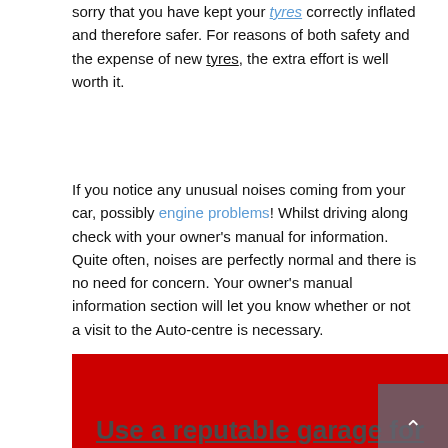sorry that you have kept your tyres correctly inflated and therefore safer. For reasons of both safety and the expense of new tyres, the extra effort is well worth it.
If you notice any unusual noises coming from your car, possibly engine problems! Whilst driving along check with your owner's manual for information. Quite often, noises are perfectly normal and there is no need for concern. Your owner's manual information section will let you know whether or not a visit to the Auto-centre is necessary.
Use a reputable garage for your car repairs
If you find that you do have to take your vehicle in for some Car Repair Advice, be sure that you are dealing with a reputable local company. Check with the other local people and ask your family or friends for recommendations. Also look out for your local independent garage, as they have very high